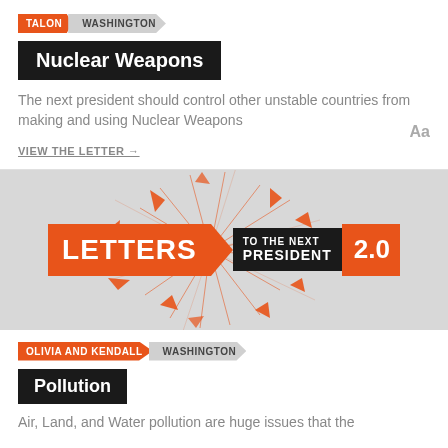TALON  WASHINGTON
Nuclear Weapons
The next president should control other unstable countries from making and using Nuclear Weapons
VIEW THE LETTER →
[Figure (logo): Letters to the Next President 2.0 logo with orange geometric burst graphic on grey background]
OLIVIA AND KENDALL  WASHINGTON
Pollution
Air, Land, and Water pollution are huge issues that the